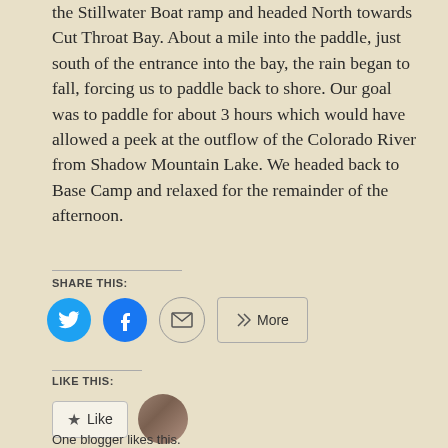the Stillwater Boat ramp and headed North towards Cut Throat Bay. About a mile into the paddle, just south of the entrance into the bay, the rain began to fall, forcing us to paddle back to shore. Our goal was to paddle for about 3 hours which would have allowed a peek at the outflow of the Colorado River from Shadow Mountain Lake. We headed back to Base Camp and relaxed for the remainder of the afternoon.
SHARE THIS:
[Figure (infographic): Social share buttons: Twitter (blue circle), Facebook (blue circle), Email (circle with envelope icon), and a More button]
LIKE THIS:
[Figure (infographic): Like button with star icon and a blogger avatar thumbnail]
One blogger likes this.